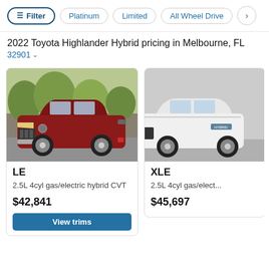Filter | Platinum | Limited | All Wheel Drive
2022 Toyota Highlander Hybrid pricing in Melbourne, FL
32901
[Figure (photo): 2022 Toyota Highlander Hybrid in dark red/maroon color driving on road]
LE
2.5L 4cyl gas/electric hybrid CVT
$42,841
[Figure (photo): 2022 Toyota Highlander Hybrid XLE in white color, partial view]
XLE
2.5L 4cyl gas/elect...
$45,697